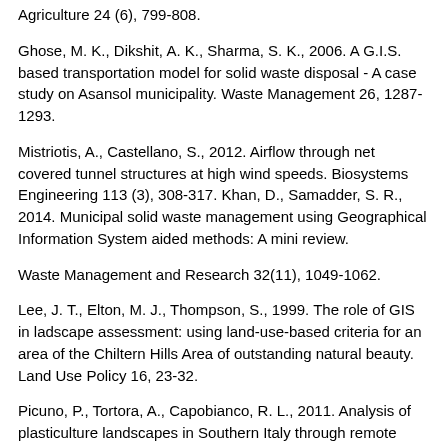Agriculture 24 (6), 799-808.
Ghose, M. K., Dikshit, A. K., Sharma, S. K., 2006. A G.I.S. based transportation model for solid waste disposal - A case study on Asansol municipality. Waste Management 26, 1287-1293.
Mistriotis, A., Castellano, S., 2012. Airflow through net covered tunnel structures at high wind speeds. Biosystems Engineering 113 (3), 308-317. Khan, D., Samadder, S. R., 2014. Municipal solid waste management using Geographical Information System aided methods: A mini review.
Waste Management and Research 32(11), 1049-1062.
Lee, J. T., Elton, M. J., Thompson, S., 1999. The role of GIS in ladscape assessment: using land-use-based criteria for an area of the Chiltern Hills Area of outstanding natural beauty. Land Use Policy 16, 23-32.
Picuno, P., Tortora, A., Capobianco, R. L., 2011. Analysis of plasticulture landscapes in Southern Italy through remote sensing and solid modelling techniques. Landscape and Urban Planning 100 (1-2), 45-56.